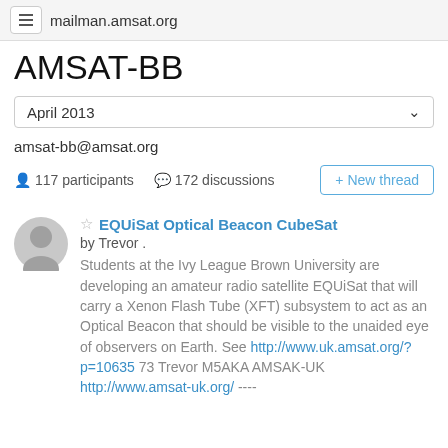mailman.amsat.org
AMSAT-BB
April 2013
amsat-bb@amsat.org
117 participants  172 discussions
+ New thread
EQUiSat Optical Beacon CubeSat
by Trevor .
Students at the Ivy League Brown University are developing an amateur radio satellite EQUiSat that will carry a Xenon Flash Tube (XFT) subsystem to act as an Optical Beacon that should be visible to the unaided eye of observers on Earth. See http://www.uk.amsat.org/?p=10635 73 Trevor M5AKA AMSAK-UK http://www.amsat-uk.org/ ----